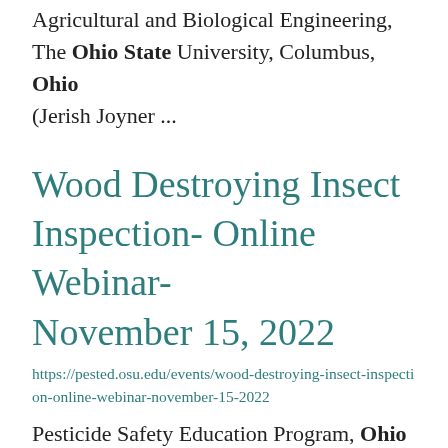Agricultural and Biological Engineering, The Ohio State University, Columbus, Ohio (Jerish Joyner ...
Wood Destroying Insect Inspection- Online Webinar- November 15, 2022
https://pested.osu.edu/events/wood-destroying-insect-inspection-online-webinar-november-15-2022
Pesticide Safety Education Program, Ohio State University Extension, and the Ohio Department of Agriculture, ... Insect Inspection (Category 12) as required under the Ohio regulation. Training is conducted in the ...